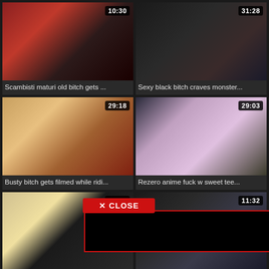[Figure (photo): Video thumbnail 1 with duration 10:30]
Scambisti maturi old bitch gets ...
[Figure (photo): Video thumbnail 2 with duration 31:28]
Sexy black bitch craves monster...
[Figure (photo): Video thumbnail 3 with duration 29:18]
Busty bitch gets filmed while ridi...
[Figure (photo): Video thumbnail 4 with duration 29:03]
Rezero anime fuck w sweet tee...
[Figure (photo): Video thumbnail 5 with duration 12:59]
Chubby ...
[Figure (photo): Video thumbnail 6 with duration 11:32]
...dispatc...